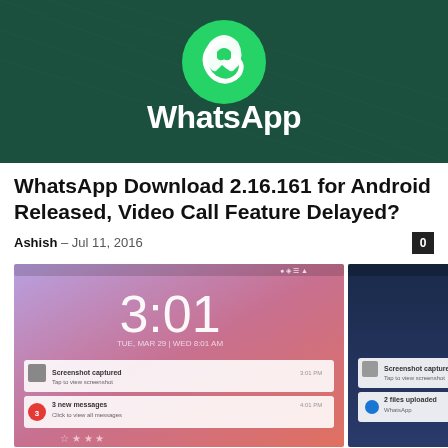[Figure (logo): WhatsApp logo on dark green background with circular phone icon and WhatsApp text in white]
WhatsApp Download 2.16.161 for Android Released, Video Call Feature Delayed?
Ashish – Jul 11, 2016
[Figure (screenshot): Three Android phone screenshots showing lock screens and notification panels with times 3:01, 5:14, and March 29 date picker]